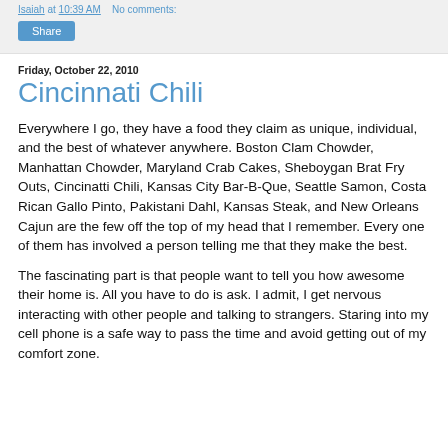Isaiah at 10:39 AM    No comments:
Share
Friday, October 22, 2010
Cincinnati Chili
Everywhere I go, they have a food they claim as unique, individual, and the best of whatever anywhere. Boston Clam Chowder, Manhattan Chowder, Maryland Crab Cakes, Sheboygan Brat Fry Outs, Cincinatti Chili, Kansas City Bar-B-Que, Seattle Samon, Costa Rican Gallo Pinto, Pakistani Dahl, Kansas Steak, and New Orleans Cajun are the few off the top of my head that I remember. Every one of them has involved a person telling me that they make the best.
The fascinating part is that people want to tell you how awesome their home is. All you have to do is ask. I admit, I get nervous interacting with other people and talking to strangers. Staring into my cell phone is a safe way to pass the time and avoid getting out of my comfort zone.